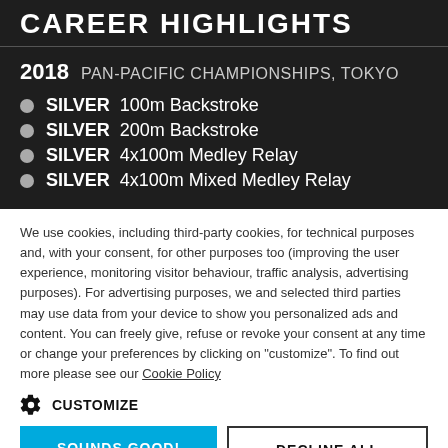CAREER HIGHLIGHTS
2018   PAN-PACIFIC CHAMPIONSHIPS, TOKYO
SILVER  100m Backstroke
SILVER  200m Backstroke
SILVER  4x100m Medley Relay
SILVER  4x100m Mixed Medley Relay
We use cookies, including third-party cookies, for technical purposes and, with your consent, for other purposes too (improving the user experience, monitoring visitor behaviour, traffic analysis, advertising purposes). For advertising purposes, we and selected third parties may use data from your device to show you personalized ads and content. You can freely give, refuse or revoke your consent at any time or change your preferences by clicking on "customize". To find out more please see our Cookie Policy
CUSTOMIZE
SOUNDS GOOD!
DECLINE ALL